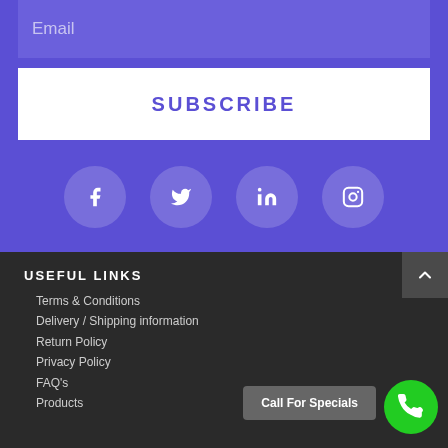Email
SUBSCRIBE
[Figure (infographic): Social media icons: Facebook, Twitter, LinkedIn, Instagram — white icons on translucent purple circles]
USEFUL LINKS
Terms & Conditions
Delivery / Shipping information
Return Policy
Privacy Policy
FAQ's
Products
Call For Specials